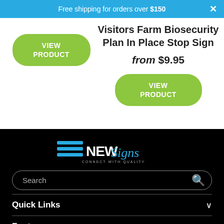Free shipping for orders over $150 ×
VIEW PRODUCT
Visitors Farm Biosecurity Plan In Place Stop Sign
from $9.95
VIEW PRODUCT
[Figure (logo): NEW Signs logo with blue horizontal lines and tagline 'CONNECT WITH QUALITY']
Search
Quick Links
Footer